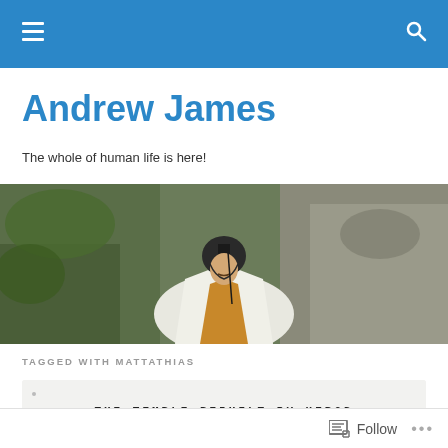Navigation bar with hamburger menu and search icon
Andrew James
The whole of human life is here!
[Figure (photo): A man in medieval costume with helmet and white/gold cape, standing against a rocky cliff face]
TAGGED WITH MATTATHIAS
[Figure (screenshot): Article card showing title THE TEMPLE REBUILT BY HEROD on a light grey background]
Follow  ...